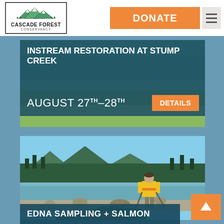[Figure (logo): Cascade Forest Conservancy logo with mountain illustration and border]
DONATE
[Figure (screenshot): Website screenshot showing Cascade Forest Conservancy events page with navigation bar, two event cards (Instream Restoration at Stump Creek August 27TH-28TH with DETAILS button, and eDNA Sampling + Salmon card with photo of worker in hi-vis vest at creek), and back-to-top arrow button]
INSTREAM RESTORATION AT STUMP CREEK
AUGUST 27TH–28TH
DETAILS
EDNA SAMPLING + SALMON